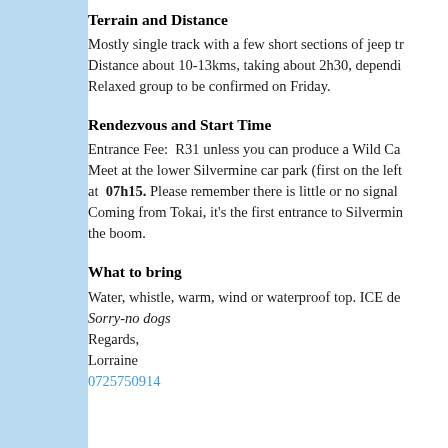Terrain and Distance
Mostly single track with a few short sections of jeep tr... Distance about 10-13kms, taking about 2h30, dependi... Relaxed group to be confirmed on Friday.
Rendezvous and Start Time
Entrance Fee: R31 unless you can produce a Wild Ca... Meet at the lower Silvermine car park (first on the left... at 07h15. Please remember there is little or no signal... Coming from Tokai, it's the first entrance to Silvermin... the boom.
What to bring
Water, whistle, warm, wind or waterproof top. ICE de... Sorry-no dogs
Regards,
Lorraine
0725750914